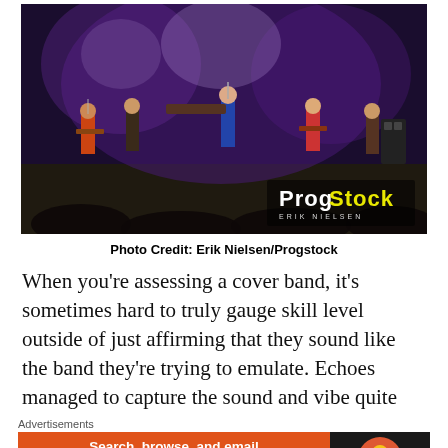[Figure (photo): Concert photo showing a band performing on a darkly lit stage with purple/blue lighting. Multiple musicians visible including guitarists and vocalists. ProgStock logo and 'Erik Nielsen' watermark in bottom right corner.]
Photo Credit: Erik Nielsen/Progstock
When you're assessing a cover band, it's sometimes hard to truly gauge skill level outside of just affirming that they sound like the band they're trying to emulate. Echoes managed to capture the sound and vibe quite
Advertisements
[Figure (infographic): DuckDuckGo advertisement banner with orange background. Text reads 'Search, browse, and email with more privacy. All in One Free App' with DuckDuckGo logo on dark right panel.]